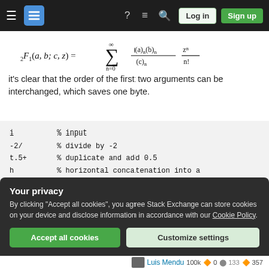Stack Exchange navigation bar with hamburger, logo, help, feedback, search, Log in, Sign up
it's clear that the order of the first two arguments can be interchanged, which saves one byte.
[Figure (screenshot): Code block showing MATLAB/Octave-like pseudocode with lines: i % input, -2/ % divide by -2, t.5+ % duplicate and add 0.5, h % horizontal concatenation into a, H % number 2, 4 % number literal, Zh % hypergeometric function with th]
Your privacy
By clicking "Accept all cookies", you agree Stack Exchange can store cookies on your device and disclose information in accordance with our Cookie Policy.
Accept all cookies   Customize settings
Luis Mendu 100k ...